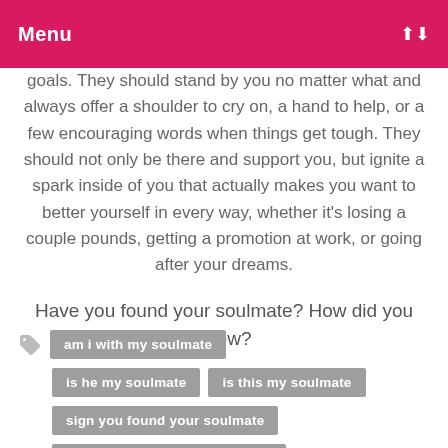Menu
goals. They should stand by you no matter what and always offer a shoulder to cry on, a hand to help, or a few encouraging words when things get tough. They should not only be there and support you, but ignite a spark inside of you that actually makes you want to better yourself in every way, whether it's losing a couple pounds, getting a promotion at work, or going after your dreams.
Have you found your soulmate? How did you know?
am i with my soulmate
is he my soulmate
is this my soulmate
sign you found your soulmate
signs you found your soulmate